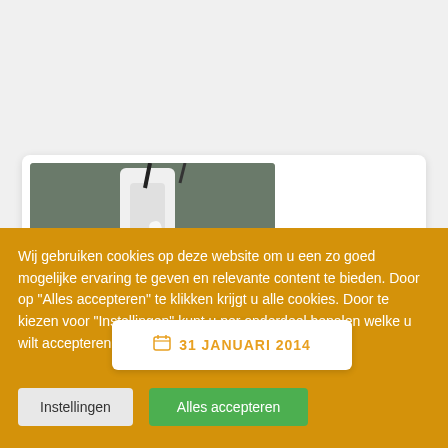[Figure (photo): Photo of kitchen/food preparation equipment - white bowls and a machine/blender, with berries visible]
31 JANUARI 2014
Wij gebruiken cookies op deze website om u een zo goed mogelijke ervaring te geven en relevante content te bieden. Door op "Alles accepteren" te klikken krijgt u alle cookies. Door te kiezen voor "Instellingen" kunt u per onderdeel bepalen welke u wilt accepteren.
Instellingen
Alles accepteren